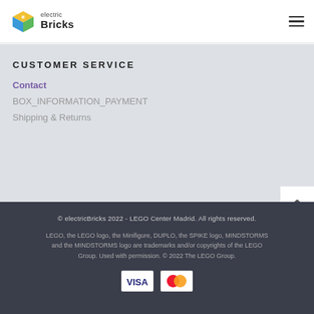[Figure (logo): Electric Bricks logo with colorful cube icon and text 'electric Bricks']
CUSTOMER SERVICE
Contact
BOX_INFORMATION_PAYMENT
Shipping & Returns
© electricBricks 2022 - LEGO Center Madrid. All rights reserved.

LEGO, the LEGO logo, the Minifigure, DUPLO, the SPIKE logo, MINDSTORMS and the MINDSTORMS logo are trademarks and/or copyrights of the LEGO Group. Used with permission. © 2022 The LEGO Group.